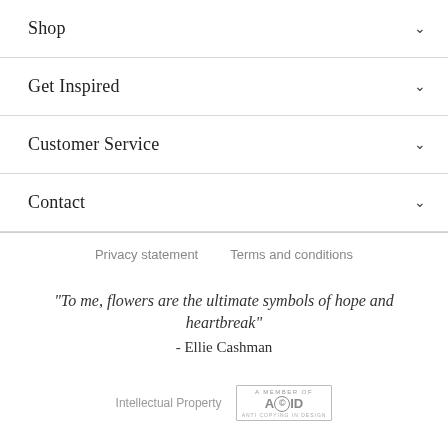Shop
Get Inspired
Customer Service
Contact
Privacy statement   Terms and conditions
"To me, flowers are the ultimate symbols of hope and heartbreak" - Ellie Cashman
Intellectual Property   A MEMBER OF ACID